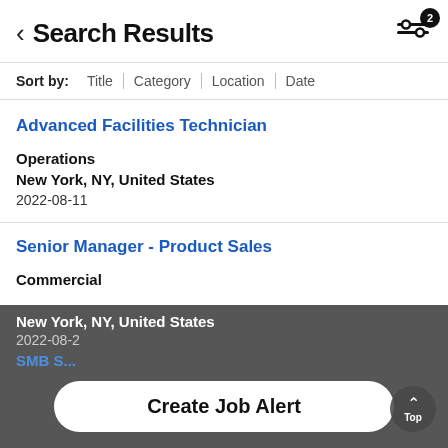Search Results
Sort by: Title | Category | Location | Date
Advanced Facilities Technician
Operations
New York, NY, United States
2022-08-11
Senior Manager - Product Sales
Commercial
New York, NY, United States
2022-08-2X
Create Job Alert